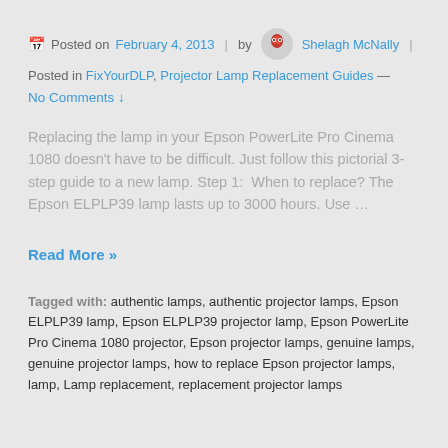Posted on February 4, 2013 | by Shelagh McNally |
Posted in FixYourDLP, Projector Lamp Replacement Guides — No Comments ↓
Replacing the lamp in your Epson PowerLite Pro Cinema 1080 doesn't have to be difficult. Just follow this pictorial 3-step guide to a new lamp. Step 1:  When to replace? The Epson ELPLP39 lamp lasts up to 3000 hours. Use …
Read More »
Tagged with: authentic lamps, authentic projector lamps, Epson ELPLP39 lamp, Epson ELPLP39 projector lamp, Epson PowerLite Pro Cinema 1080 projector, Epson projector lamps, genuine lamps, genuine projector lamps, how to replace Epson projector lamps, lamp, Lamp replacement, replacement projector lamps